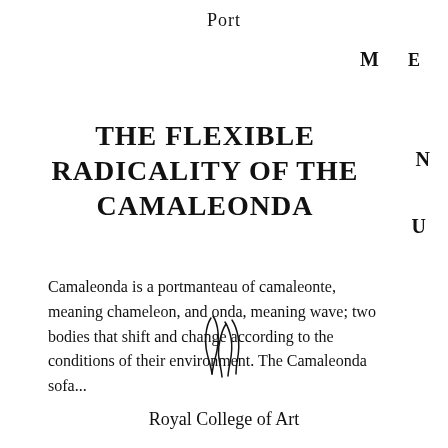Port
M  E
THE FLEXIBLE RADICALITY OF THE CAMALEONDA
N
U
Camaleonda is a portmanteau of camaleonte, meaning chameleon, and onda, meaning wave; two bodies that shift and change according to the conditions of their environment. The Camaleonda sofa...
[Figure (logo): Royal College of Art logo — stylized abstract grass/wave mark]
Royal College of Art